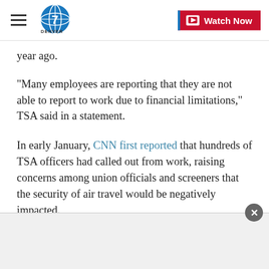Denver 7 News — Watch Now
year ago.
"Many employees are reporting that they are not able to report to work due to financial limitations," TSA said in a statement.
In early January, CNN first reported that hundreds of TSA officers had called out from work, raising concerns among union officials and screeners that the security of air travel would be negatively impacted.
One regional TSA manager told screeners at Palm